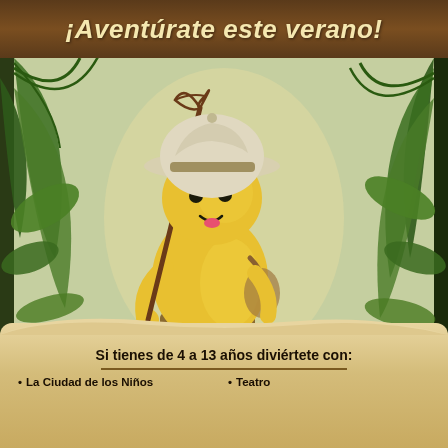¡Aventúrate este verano!
[Figure (illustration): Cartoon yellow explorer mascot character wearing a white safari/pith helmet and brown belt, holding a wooden walking stick with a net, set in a jungle scene with green tropical leaves and palm fronds on both sides, greenish-beige background]
Si tienes de 4 a 13 años diviértete con:
La Ciudad de los Niños
Teatro